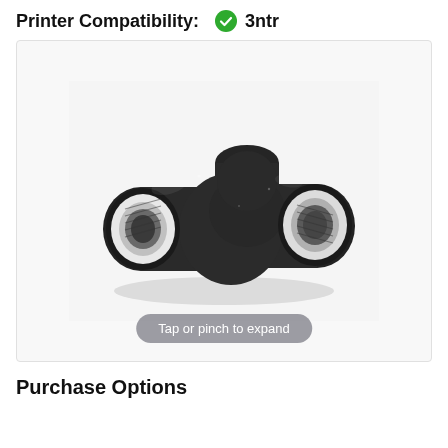Printer Compatibility:  ✔ 3ntr
[Figure (photo): A black 3D printed part with two cylindrical openings (hollow tubes), shaped like a T or Y connector/fitting, shown at an angle against a light gray background. Below the part is a pill-shaped button labeled 'Tap or pinch to expand'.]
Tap or pinch to expand
Purchase Options